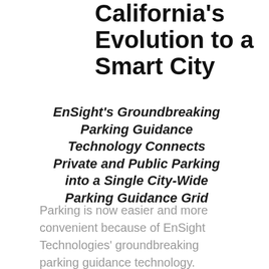California's Evolution to a Smart City
EnSight's Groundbreaking Parking Guidance Technology Connects Private and Public Parking into a Single City-Wide Parking Guidance Grid
Parking is now easier and more convenient because of EnSight Technologies' groundbreaking parking guidance technology. Today, EnSight Technologies announced the successful completion of a parking